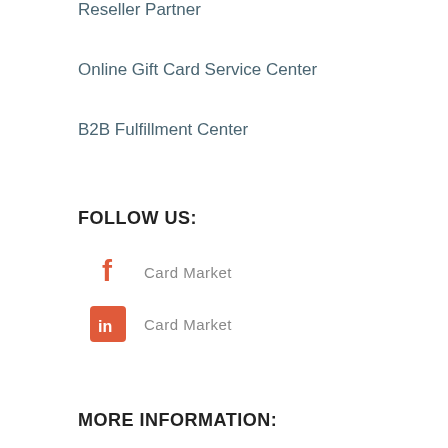Reseller Partner
Online Gift Card Service Center
B2B Fulfillment Center
FOLLOW US:
Card Market
Card Market
MORE INFORMATION: